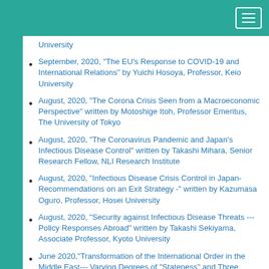[Teal navigation header with hamburger menu button]
University
September, 2020, "The EU's Response to COVID-19 and International Relations" by Yuichi Hosoya, Professor, Keio University
August, 2020, "The Corona Crisis Seen from a Macroeconomic Perspective" written by Motoshige Itoh, Professor Emeritus, The University of Tokyo
August, 2020, "The Coronavirus Pandemic and Japan's Infectious Disease Control" written by Takashi Mihara, Senior Research Fellow, NLI Research Institute
August, 2020, "Infectious Disease Crisis Control in Japan- Recommendations on an Exit Strategy -" written by Kazumasa Oguro, Professor, Hosei University
August, 2020, "Security against Infectious Disease Threats --- Policy Responses Abroad" written by Takashi Sekiyama, Associate Professor, Kyoto University
June 2020,"Transformation of the International Order in the Middle East--- Varying Degrees of "Stateness" and Three Directions of the New Order" written by Satoshi